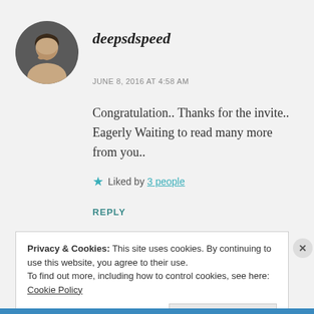[Figure (photo): Circular avatar photo of a man with his hand near his chin, dark hair, against a dark background.]
deepsdspeed
JUNE 8, 2016 AT 4:58 AM
Congratulation.. Thanks for the invite.. Eagerly Waiting to read many more from you..
★ Liked by 3 people
REPLY
Privacy & Cookies: This site uses cookies. By continuing to use this website, you agree to their use.
To find out more, including how to control cookies, see here: Cookie Policy
Close and accept